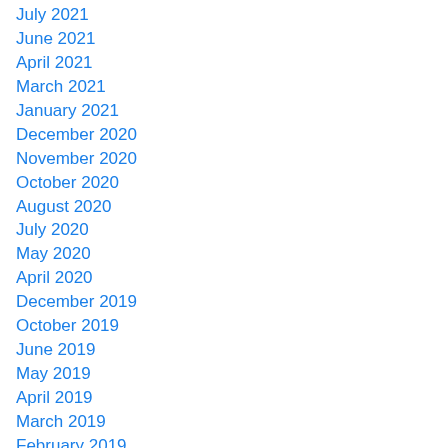July 2021
June 2021
April 2021
March 2021
January 2021
December 2020
November 2020
October 2020
August 2020
July 2020
May 2020
April 2020
December 2019
October 2019
June 2019
May 2019
April 2019
March 2019
February 2019